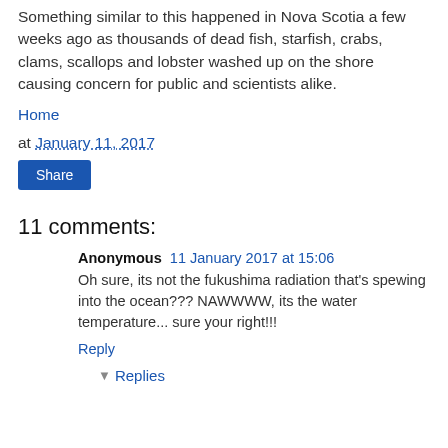Something similar to this happened in Nova Scotia a few weeks ago as thousands of dead fish, starfish, crabs, clams, scallops and lobster washed up on the shore causing concern for public and scientists alike.
Home
at January 11, 2017
Share
11 comments:
Anonymous 11 January 2017 at 15:06
Oh sure, its not the fukushima radiation that's spewing into the ocean??? NAWWWW, its the water temperature... sure your right!!!
Reply
Replies